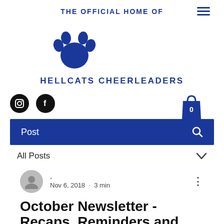THE OFFICIAL HOME OF
[Figure (logo): Blue paw print logo icon]
HELLCATS CHEERLEADERS
[Figure (other): Instagram icon (black circle with camera), Facebook icon (black circle with f), shopping bag icon with 0, hamburger menu icon]
Post
All Posts
- · Nov 6, 2018 · 3 min
October Newsletter - Recaps, Reminders and